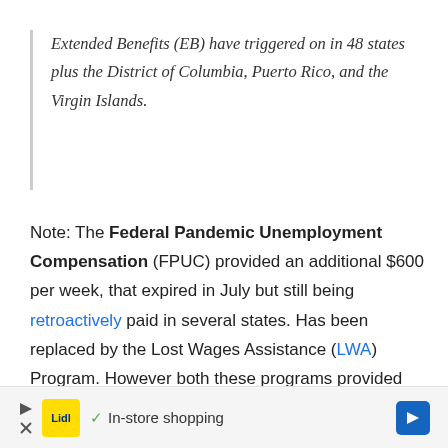Extended Benefits (EB) have triggered on in 48 states plus the District of Columbia, Puerto Rico, and the Virgin Islands.
Note: The Federal Pandemic Unemployment Compensation (FPUC) provided an additional $600 per week, that expired in July but still being retroactively paid in several states. Has been replaced by the Lost Wages Assistance (LWA) Program. However both these programs provided supplementary UI payments, rather than extended benefit coverage.
In-store shopping [Advertisement - Lidl]